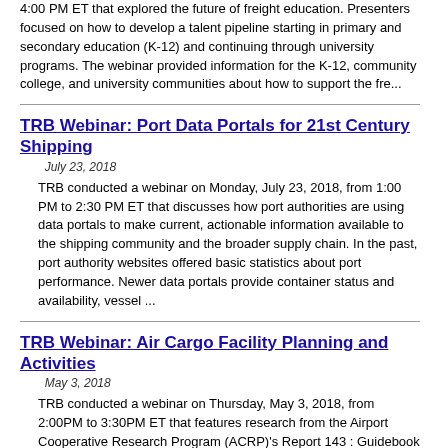4:00 PM ET that explored the future of freight education. Presenters focused on how to develop a talent pipeline starting in primary and secondary education (K-12) and continuing through university programs. The webinar provided information for the K-12, community college, and university communities about how to support the fre...
TRB Webinar: Port Data Portals for 21st Century Shipping
July 23, 2018
TRB conducted a webinar on Monday, July 23, 2018, from 1:00 PM to 2:30 PM ET that discusses how port authorities are using data portals to make current, actionable information available to the shipping community and the broader supply chain. In the past, port authority websites offered basic statistics about port performance. Newer data portals provide container status and availability, vessel ...
TRB Webinar: Air Cargo Facility Planning and Activities
May 3, 2018
TRB conducted a webinar on Thursday, May 3, 2018, from 2:00PM to 3:30PM ET that features research from the Airport Cooperative Research Program (ACRP)'s Report 143 : Guidebook for Air Cargo Facility Planning and Development and Synthesis 80 : Estimating Truck Trip Generation for Airport Air Cargo Activity. This webinar explored the tools and techniques for sizing air cargo facilities, which inc...
TRB Webinar: Leveraging Transportation Mode